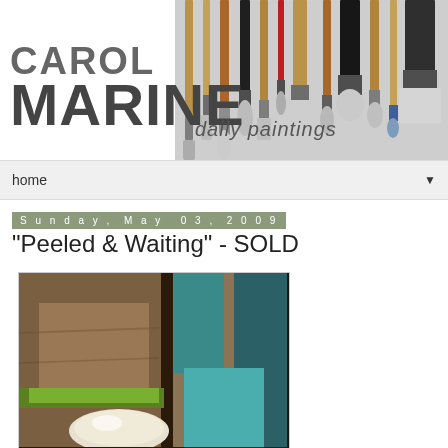[Figure (illustration): Carol Marine daily paintings blog header with paint brushes hanging down on the right side and large bold text reading CAROL MARINE with 'daily paintings' in handwritten style]
home
Sunday, May 03, 2009
"Peeled & Waiting" - SOLD
[Figure (photo): Abstract oil painting showing a peeled object with teal/turquoise, brown, and green colors against a muted background]